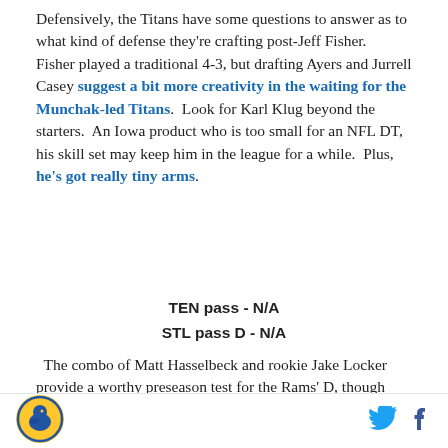Defensively, the Titans have some questions to answer as to what kind of defense they're crafting post-Jeff Fisher. Fisher played a traditional 4-3, but drafting Ayers and Jurrell Casey suggest a bit more creativity in the waiting for the Munchak-led Titans. Look for Karl Klug beyond the starters. An Iowa product who is too small for an NFL DT, his skill set may keep him in the league for a while. Plus, he's got really tiny arms.
TEN pass - N/A
STL pass D - N/A
The combo of Matt Hasselbeck and rookie Jake Locker provide a worthy preseason test for the Rams' D, though without Kenny Britt (or Chris Johnson), it's
[Figure (logo): SB Nation bird logo — yellow and blue circular emblem]
[Figure (logo): Twitter bird icon in blue]
[Figure (logo): Facebook 'f' icon in dark blue]